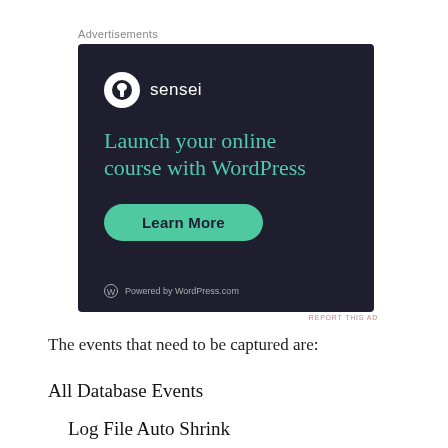Advertisements
[Figure (illustration): Sensei advertisement on dark background. Logo with bonsai tree in white circle, text 'sensei'. Headline: 'Launch your online course with WordPress'. Green 'Learn More' button. Footer: WordPress logo and 'Powered by WordPress.com'.]
REPORT THIS AD
The events that need to be captured are:
All Database Events
Log File Auto Shrink